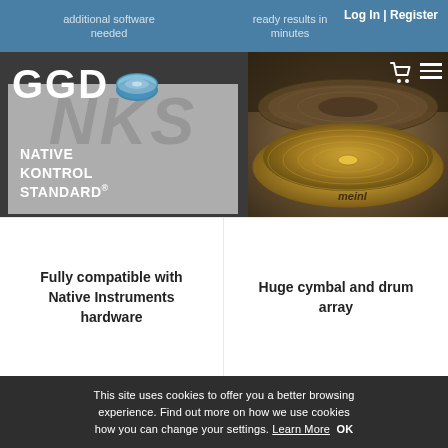additional software needed | ready results in minutes | Log In | Register
[Figure (logo): GGD logo with drum icon and NKS Native Kontrol Standard badge]
[Figure (photo): Close-up photo of Meinl cymbals stacked]
Fully compatible with Native Instruments hardware
Huge cymbal and drum array
This site uses cookies to offer you a better browsing experience. Find out more on how we use cookies how you can change your settings. Learn More  OK